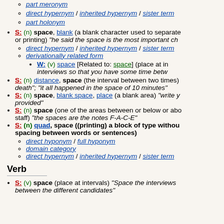part meronym
direct hypernym / inherited hypernym / sister term
part holonym
S: (n) space, blank (a blank character used to separate words in printing) "he said the space is the most important ch..."
direct hypernym / inherited hypernym / sister term
derivationally related form
W: (v) space [Related to: space] (place at intervals) ...interviews so that you have some time betw...
S: (n) distance, space (the interval between two times) ...death"; "it all happened in the space of 10 minutes"
S: (n) space, blank space, place (a blank area) "write y...provided"
S: (n) space (one of the areas between or below or above the staff) "the spaces are the notes F-A-C-E"
S: (n) quad, space ((printing) a block of type without spacing between words or sentences)
direct hyponym / full hyponym
domain category
direct hypernym / inherited hypernym / sister term
Verb
S: (v) space (place at intervals) "Space the interviews between the different candidates"